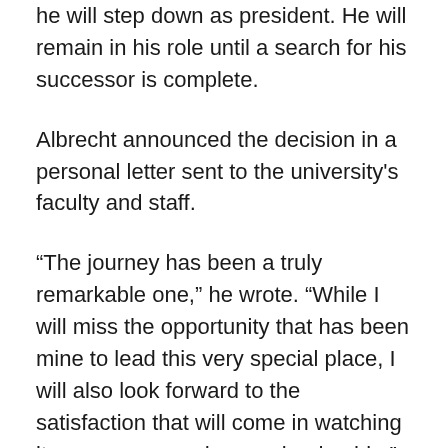he will step down as president. He will remain in his role until a search for his successor is complete.
Albrecht announced the decision in a personal letter sent to the university's faculty and staff.
“The journey has been a truly remarkable one,” he wrote. “While I will miss the opportunity that has been mine to lead this very special place, I will also look forward to the satisfaction that will come in watching its successes under new leadership.”
Announcing the decision now will allow the state Board of Regents and the USU Board of Trustees the necessary time to conduct a careful and thorough search for a new